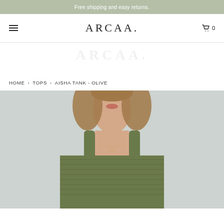Free shipping and easy returns.
ARCAA.
HOME  >  TOPS  >  AISHA TANK - OLIVE
[Figure (photo): Close-up photo of a woman from the chin to upper chest wearing an olive green ribbed tank top with thin straps, and a delicate gold necklace. Hair is light brown and loosely styled. Background is pale blue-grey.]